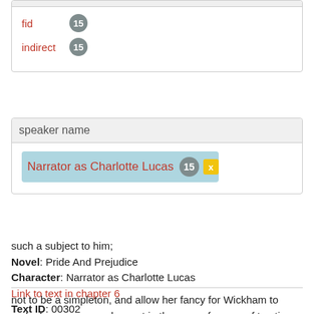[Figure (screenshot): UI card showing fid badge 15 and indirect badge 15 tags in red with grey circular badges]
[Figure (screenshot): UI card showing speaker name section with 'Narrator as Charlotte Lucas' tag with badge 15 and yellow x button on light blue background]
such a subject to him;
Novel: Pride And Prejudice
Character: Narrator as Charlotte Lucas
Link to text in chapter 6
Text ID: 00302
not to be a simpleton, and allow her fancy for Wickham to make her appear unpleasant in the eyes of a man of ten times his